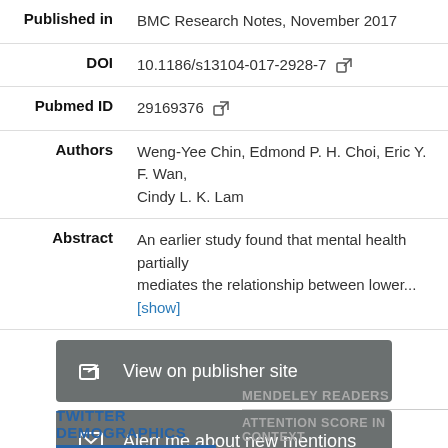| Published in | BMC Research Notes, November 2017 |
| DOI | 10.1186/s13104-017-2928-7 [icon] |
| Pubmed ID | 29169376 [icon] |
| Authors | Weng-Yee Chin, Edmond P. H. Choi, Eric Y. F. Wan, Cindy L. K. Lam |
| Abstract | An earlier study found that mental health partially mediates the relationship between lower... [show] |
View on publisher site
Alert me about new mentions
TWITTER DEMOGRAPHICS
MENDELEY READERS
ATTENTION SCORE IN CONTEXT